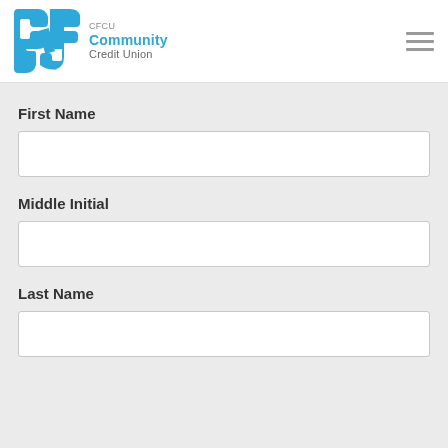[Figure (logo): CFCU Community Credit Union logo with blue interlocking CF and CU letters and text]
First Name
Middle Initial
Last Name